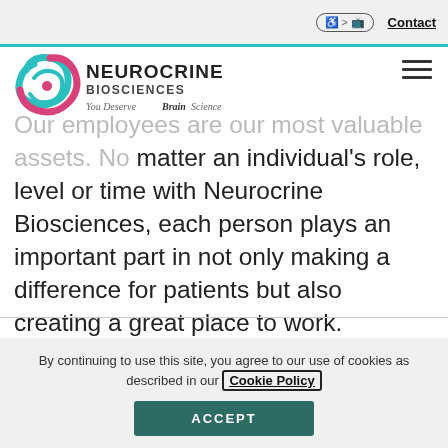Contact
[Figure (logo): Neurocrine Biosciences logo with tagline 'You Deserve Brain Science']
Our employees are our most valuable assets. No matter an individual's role, level or time with Neurocrine Biosciences, each person plays an important part in not only making a difference for patients but also creating a great place to work.
LEARN MORE
By continuing to use this site, you agree to our use of cookies as described in our Cookie Policy
ACCEPT